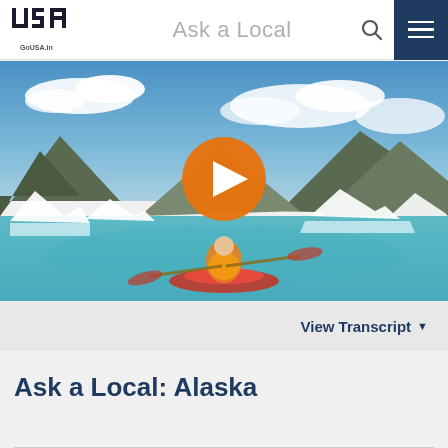GoUSA.in — Ask a Local
[Figure (photo): Person kayaking in red kayak through icy blue glacial waters surrounded by icebergs and mountains under blue sky, with orange play button overlay indicating a video player.]
View Transcript ▼
Ask a Local: Alaska